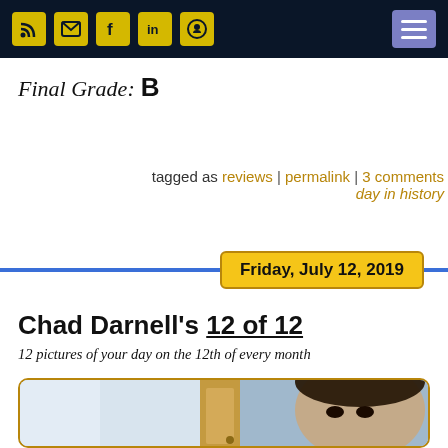[Navigation bar with social icons: RSS, Email, Facebook, LinkedIn, GitHub, and hamburger menu]
Final Grade: B
tagged as reviews | permalink | 3 comments
day in history
Friday, July 12, 2019
Chad Darnell's 12 of 12
12 pictures of your day on the 12th of every month
[Figure (photo): Selfie photo of Chad Darnell in bathroom mirror, short dark hair, wooden cabinet visible in background]